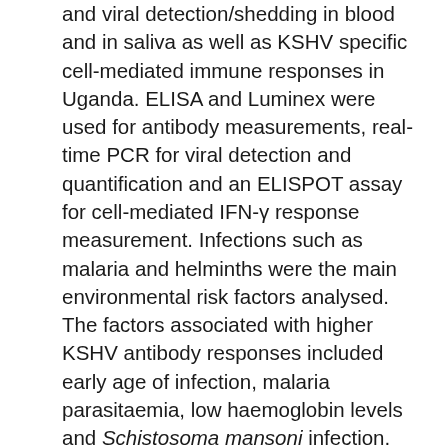and viral detection/shedding in blood and in saliva as well as KSHV specific cell-mediated immune responses in Uganda. ELISA and Luminex were used for antibody measurements, real-time PCR for viral detection and quantification and an ELISPOT assay for cell-mediated IFN-γ response measurement. Infections such as malaria and helminths were the main environmental risk factors analysed. The factors associated with higher KSHV antibody responses included early age of infection, malaria parasitaemia, low haemoglobin levels and Schistosoma mansoni infection. Malaria infection was also associated with higher levels of KSHV DNA in blood while male sex was associated with increased viral shedding in saliva. Children had the highest proportion of individuals with detectable KSHV DNA in blood and in saliva. In relation to IFN-γ production, individuals responded to a wide variety of KSHV peptides without any immune dominance. In conclusion,